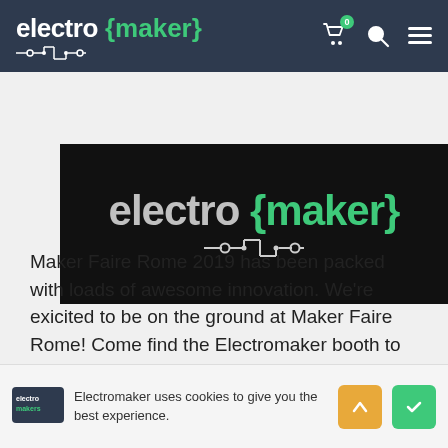electro {maker}
[Figure (logo): Electromaker logo on dark background with circuit board graphic]
Maker Faire Rome 2019 has been packed with loads of awesome innovation. We're exicited to be on the ground at Maker Faire Rome! Come find the Electromaker booth to check out our awesome DIY disco helmets, follow the action on Facebook, Twitter, and Instagram, plus follow our Senior Editor
Electromaker uses cookies to give you the best experience.